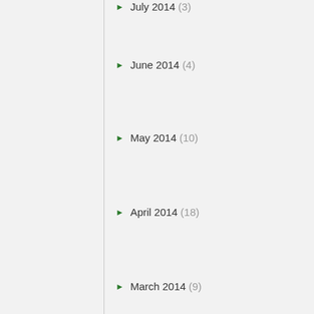July 2014 (3)
June 2014 (4)
May 2014 (10)
April 2014 (18)
March 2014 (9)
February 2014 (11)
January 2014 (9)
December 2013 (6)
November 2013 (1)
October 2013 (3)